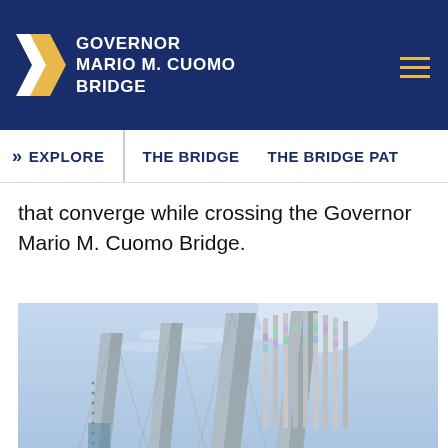GOVERNOR MARIO M. CUOMO BRIDGE
» EXPLORE | THE BRIDGE | THE BRIDGE PAT
that converge while crossing the Governor Mario M. Cuomo Bridge.
[Figure (photo): Upward-looking photo of bridge cable stay pylons/towers with colorful iridescent lights and blue sky background]